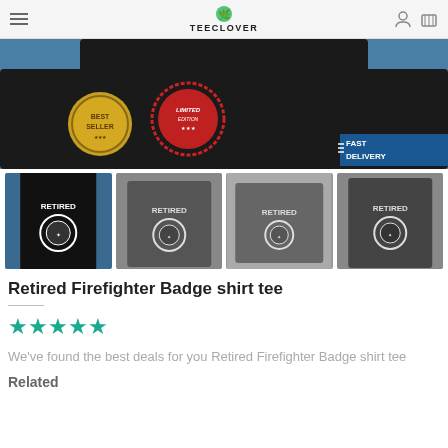TEECLOVER
[Figure (photo): Main product image of a black hoodie with 'RETIRED' firefighter badge design, with 'BEST SELLER' and 'LIMITED EDITION' badges, and 'FAST DELIVERY' banner]
[Figure (photo): Thumbnail row: black hoodie, dark gray sweatshirt, dark gray crewneck, dark gray v-neck shirt — all with 'RETIRED' firefighter badge design]
Retired Firefighter Badge shirt tee
[Figure (other): 5 teal/green star rating icons]
We've found the best deals for you Retired Firefighter Badge shirt tee
Related